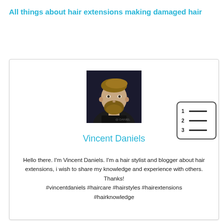All things about hair extensions making damaged hair
[Figure (photo): Profile photo of a bearded man with styled hair against a dark background]
[Figure (other): Table of contents icon showing numbered list with 1, 2, 3 and horizontal lines]
Vincent Daniels
Hello there. I'm Vincent Daniels. I'm a hair stylist and blogger about hair extensions, i wish to share my knowledge and experience with others. Thanks! #vincentdaniels #haircare #hairstyles #hairextensions #hairknowledge